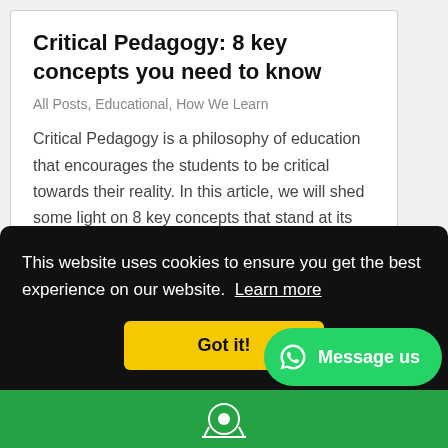Critical Pedagogy: 8 key concepts you need to know
All Posts, Educational, How We Learn
Critical Pedagogy is a philosophy of education that encourages the students to be critical towards their reality. In this article, we will shed some light on 8 key concepts that stand at its base.
This website uses cookies to ensure you get the best experience on our website. Learn more
Got it!
Message us